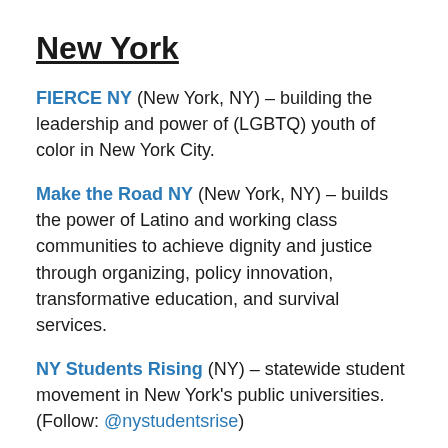New York
FIERCE NY (New York, NY) – building the leadership and power of (LGBTQ) youth of color in New York City.
Make the Road NY (New York, NY) – builds the power of Latino and working class communities to achieve dignity and justice through organizing, policy innovation, transformative education, and survival services.
NY Students Rising (NY) – statewide student movement in New York's public universities. (Follow: @nystudentsrise)
NYS Youth Leadership Council (New York, NY) – First undocumented youth led organization in NY, working on passing the @NYDreamAct. (Follow: @NYSYLC)